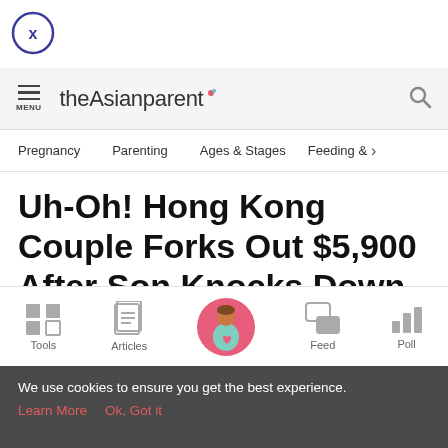[Figure (other): Circle close/dismiss button with X inside]
theAsianparent — Menu and Search icons in header bar
Pregnancy | Parenting | Ages & Stages | Feeding & >
Uh-Oh! Hong Kong Couple Forks Out $5,900 After Son Knocks Down Teletubbies Statue
[Figure (other): Bottom navigation bar with Tools, Articles, Home (pregnant woman icon), Feed, Poll]
We use cookies to ensure you get the best experience. Learn More  Ok, Got it